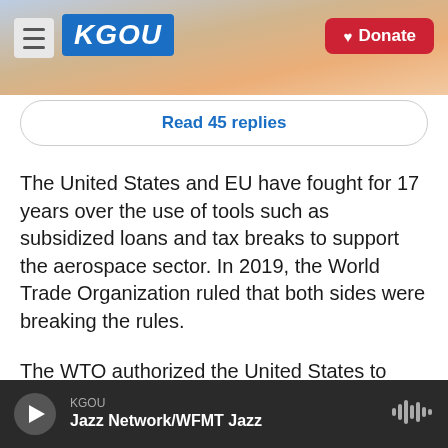KGOU | Donate
Read 45 replies
The United States and EU have fought for 17 years over the use of tools such as subsidized loans and tax breaks to support the aerospace sector. In 2019, the World Trade Organization ruled that both sides were breaking the rules.
The WTO authorized the United States to apply tariffs on $7.5 billion of imports from the EU per year — tariffs that affected not only aircraft, but items such as wine and cheese. At the time, then-
KGOU | Jazz Network/WFMT Jazz